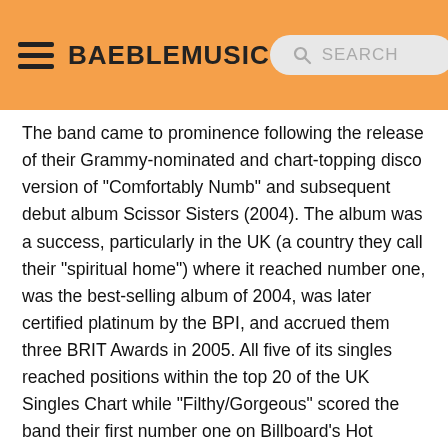BAEBLEMUSIC  SEARCH
The band came to prominence following the release of their Grammy-nominated and chart-topping disco version of "Comfortably Numb" and subsequent debut album Scissor Sisters (2004). The album was a success, particularly in the UK (a country they call their "spiritual home") where it reached number one, was the best-selling album of 2004, was later certified platinum by the BPI, and accrued them three BRIT Awards in 2005. All five of its singles reached positions within the top 20 of the UK Singles Chart while "Filthy/Gorgeous" scored the band their first number one on Billboard's Hot Dance Club Songs, despite the album's mere success in their native US.
The album continued its success in countries around Europe, in Australia and in Canada before the release of the band's second studio album Ta-Dah (2006), their second consecutive UK number one album which produced their first UK number one single "I Don't Feel Like Dancin". Their third studio album Night Work (2010) displayed a shift towards a more club-oriented sound, charting at number two on the UK Albums Chart, number one on Billboard's Top